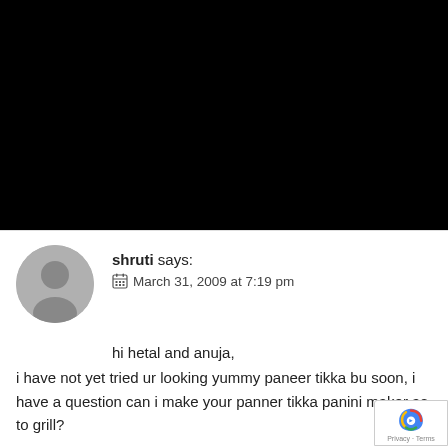[Figure (photo): Black rectangle occupying the top portion of the page (image area obscured/black)]
shruti says:
📅 March 31, 2009 at 7:19 pm

hi hetal and anuja,
i have not yet tried ur looking yummy paneer tikka bu soon, i have a question can i make your panner tikka panini maker as to grill?